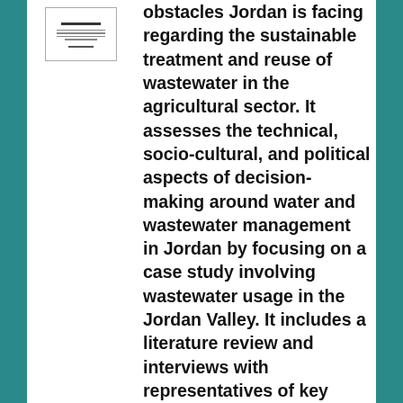[Figure (other): Small thumbnail image of a document cover page with lines of text]
obstacles Jordan is facing regarding the sustainable treatment and reuse of wastewater in the agricultural sector. It assesses the technical, socio-cultural, and political aspects of decision-making around water and wastewater management in Jordan by focusing on a case study involving wastewater usage in the Jordan Valley. It includes a literature review and interviews with representatives of key stakeholders. While at one level wastewater treatment is a technical process with technological solutions, a nuanced understanding of the non-technical challenges facing the wastewater treatment sector in Jordan is necessary. These challenges are inherently embedded in and contextualized by a series of